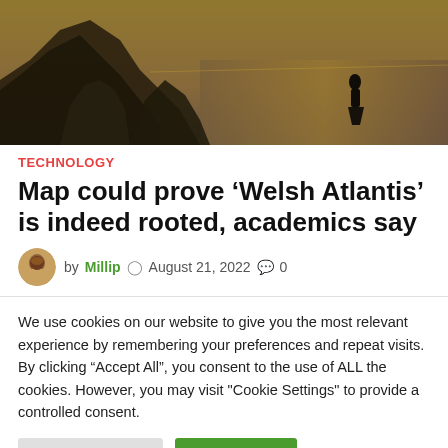[Figure (photo): Scenic photo of rocky cliffs and a silhouetted figure standing against a golden-hued sea and sky backdrop]
TECHNOLOGY
Map could prove ‘Welsh Atlantis’ is indeed rooted, academics say
by Millip  August 21, 2022  0
We use cookies on our website to give you the most relevant experience by remembering your preferences and repeat visits. By clicking “Accept All”, you consent to the use of ALL the cookies. However, you may visit "Cookie Settings" to provide a controlled consent.
Cookie Settings  Accept All